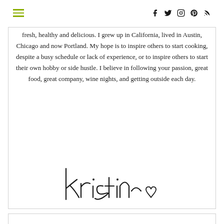[hamburger menu] [social icons: facebook, twitter, instagram, pinterest, rss]
fresh, healthy and delicious. I grew up in California, lived in Austin, Chicago and now Portland. My hope is to inspire others to start cooking, despite a busy schedule or lack of experience, or to inspire others to start their own hobby or side hustle. I believe in following your passion, great food, great company, wine nights, and getting outside each day.
[Figure (illustration): Handwritten cursive signature reading 'kristin' with a small heart drawn at the end]
[Figure (other): Bottom of a white card/panel, partially visible at the bottom of the page]